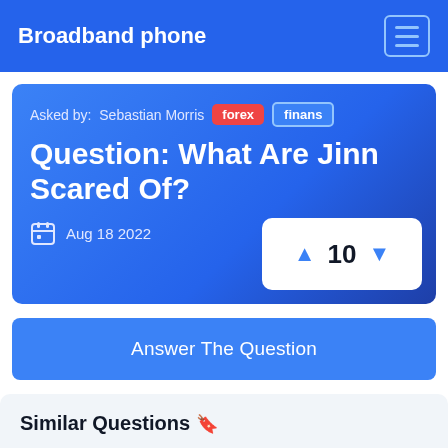Broadband phone
Asked by: Sebastian Morris  forex  finans
Question: What Are Jinn Scared Of?
Aug 18 2022
▲ 10 ▼
Answer The Question
Similar Questions 🔖